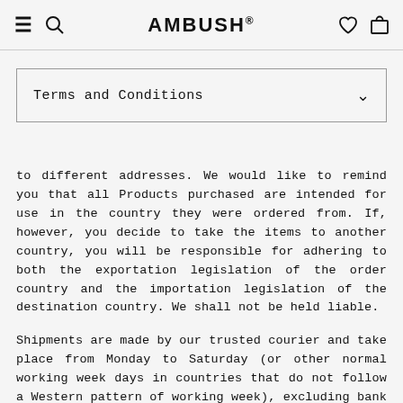≡  🔍  AMBUSH®  ♡  🛍
Terms and Conditions
to different addresses. We would like to remind you that all Products purchased are intended for use in the country they were ordered from. If, however, you decide to take the items to another country, you will be responsible for adhering to both the exportation legislation of the order country and the importation legislation of the destination country. We shall not be held liable.
Shipments are made by our trusted courier and take place from Monday to Saturday (or other normal working week days in countries that do not follow a Western pattern of working week), excluding bank and public holidays, usually within the hours between 8am and 5pm. It is not possible to specify a